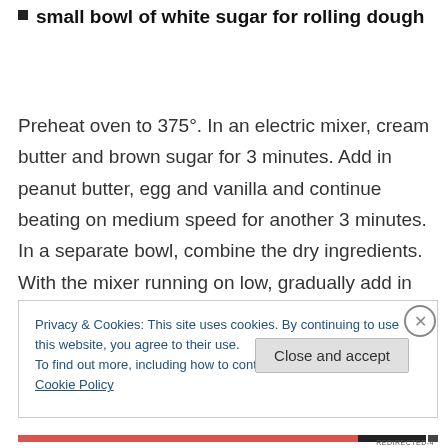small bowl of white sugar for rolling dough
Preheat oven to 375°. In an electric mixer, cream butter and brown sugar for 3 minutes. Add in peanut butter, egg and vanilla and continue beating on medium speed for another 3 minutes. In a separate bowl, combine the dry ingredients.  With the mixer running on low, gradually add in the dry ingredients to the wet.
Privacy & Cookies: This site uses cookies. By continuing to use this website, you agree to their use.
To find out more, including how to control cookies, see here: Cookie Policy
Close and accept